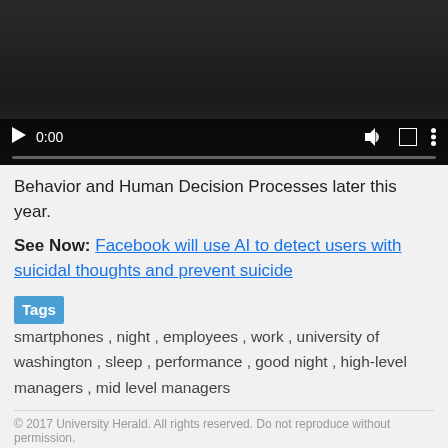[Figure (screenshot): Video player with dark background showing controls: play button, timestamp 0:00, progress bar, volume icon, fullscreen icon, and options menu icon]
Behavior and Human Decision Processes later this year.
See Now: Facebook will use AI to detect users with suicidal thoughts and prevent suicide
Tags   smartphones ,  night ,  employees ,  work ,  university of washington ,  sleep ,  performance ,  good night ,  high-level managers ,  mid level managers
© 2017 University Herald. All rights reserved. Do not reproduce without permission.
Related Articles